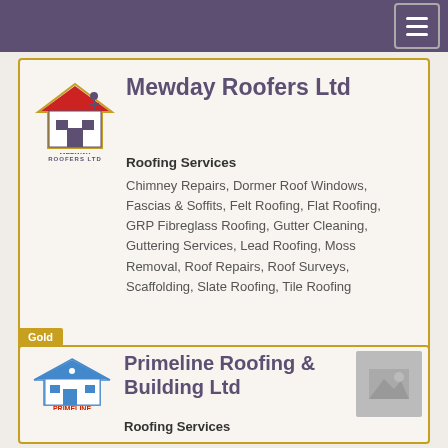Navigation bar with hamburger menu
Mewday Roofers Ltd
Roofing Services
Chimney Repairs, Dormer Roof Windows, Fascias & Soffits, Felt Roofing, Flat Roofing, GRP Fibreglass Roofing, Gutter Cleaning, Guttering Services, Lead Roofing, Moss Removal, Roof Repairs, Roof Surveys, Scaffolding, Slate Roofing, Tile Roofing
Show Phone Number
Gold
Primeline Roofing & Building Ltd
Roofing Services